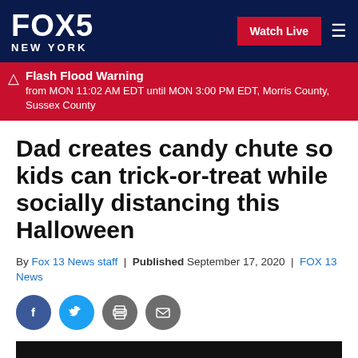FOX 5 NEW YORK
Flash Flood Warning from MON 11:02 AM EDT until MON 3:00 PM EDT, Morris County, Sussex County
Dad creates candy chute so kids can trick-or-treat while socially distancing this Halloween
By Fox 13 News staff | Published September 17, 2020 | FOX 13 News
[Figure (other): Social share icons: Facebook, Twitter, Print, Email]
[Figure (other): Video thumbnail placeholder, black background]